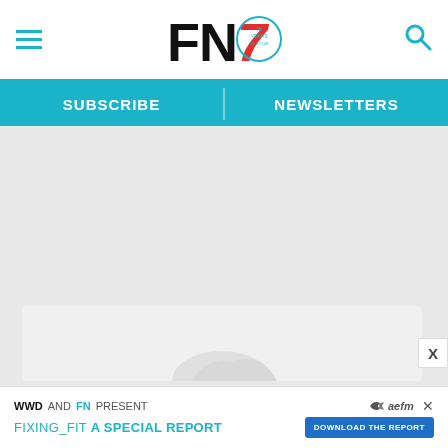FN7 — Footwear News header with hamburger menu, logo, and search icon
SUBSCRIBE | NEWSLETTERS
[Figure (other): Advertisement placeholder area — light gray box with partial shoe image]
WWD AND FN PRESENT
FIXING_FIT A SPECIAL REPORT — DOWNLOAD THE REPORT